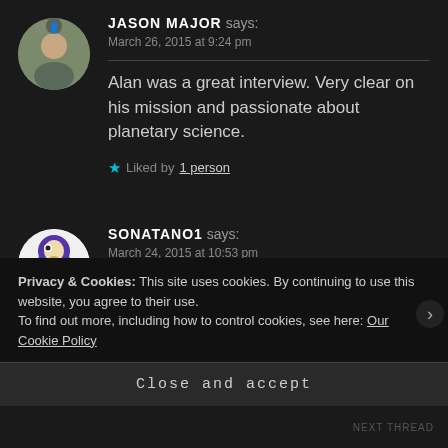JASON MAJOR says:
March 26, 2015 at 9:24 pm
Alan was a great interview. Very clear on his mission and passionate about planetary science.
★ Liked by 1 person
SONATANO1 says:
March 24, 2015 at 10:53 pm
Privacy & Cookies: This site uses cookies. By continuing to use this website, you agree to their use.
To find out more, including how to control cookies, see here: Our Cookie Policy
Close and accept